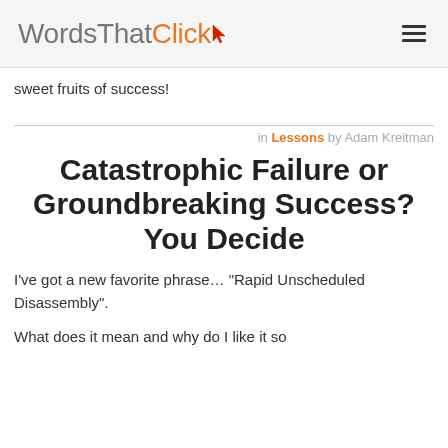WordsThatClick
sweet fruits of success!
in Lessons by Adam Kreitman
Catastrophic Failure or Groundbreaking Success? You Decide
I've got a new favorite phrase… "Rapid Unscheduled Disassembly".
What does it mean and why do I like it so